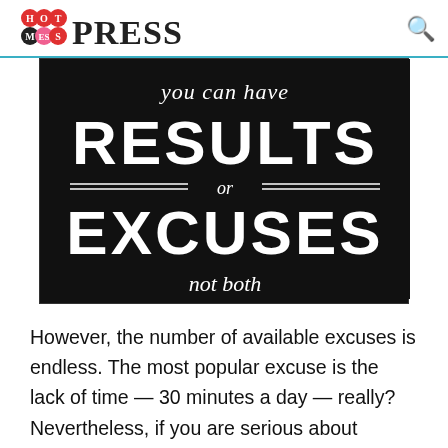HotMessPress
[Figure (illustration): Black background motivational quote image. Top italic script text: 'you can have'. Large bold block letters: 'RESULTS'. Middle section with horizontal lines and text: 'or'. Large bold block letters: 'EXCUSES'. Bottom italic text: 'not both'.]
However, the number of available excuses is endless. The most popular excuse is the lack of time — 30 minutes a day — really? Nevertheless, if you are serious about changing your lifestyle, you will find the